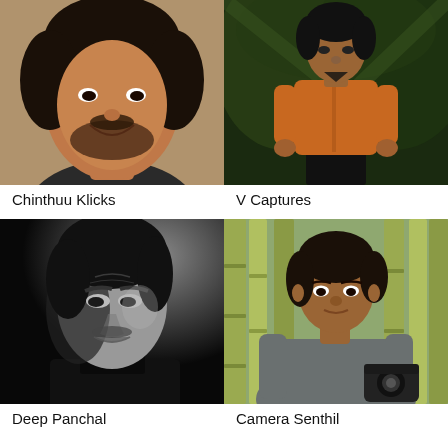[Figure (photo): Portrait photo of Chinthuu Klicks, a young man with beard, smiling, wearing dark jacket, taken inside a car]
Chinthuu Klicks
[Figure (photo): Photo of V Captures, a man wearing an orange/brown shirt and black pants, standing outdoors among green palm trees at night]
V Captures
[Figure (photo): Black and white portrait of Deep Panchal, a young man with dramatic lighting looking sideways]
Deep Panchal
[Figure (photo): Photo of Camera Senthil, a man in grey shirt holding a camera, sitting outdoors with bamboo in background]
Camera Senthil